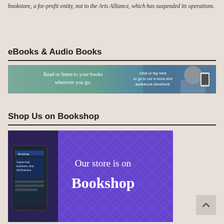bookstore, a for-profit entity, not to the Arts Alliance, which has suspended its operations.
eBooks & Audio Books
[Figure (illustration): Banner ad with teal/blue gradient background showing text 'Read or listen to your books wherever you go.' on left and 'Click or tap here to go to our e-book and audiobook storefront.' on right, with a person holding a phone on far right.]
Shop Us on Bookshop
[Figure (illustration): Purple banner ad showing a smartphone with Bookshop app on left and text 'Our store is on Bookshop' in large white serif font on right, with diamond pattern background.]